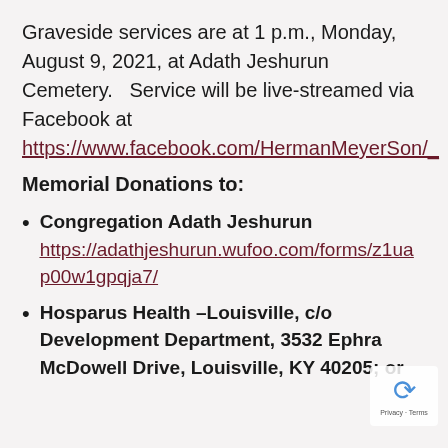Graveside services are at 1 p.m., Monday, August 9, 2021, at Adath Jeshurun Cemetery.   Service will be live-streamed via Facebook at https://www.facebook.com/HermanMeyerSon/_
Memorial Donations to:
Congregation Adath Jeshurun https://adathjeshurun.wufoo.com/forms/z1uap00w1gpqja7/
Hosparus Health –Louisville, c/o Development Department, 3532 Ephra McDowell Drive, Louisville, KY 40205; or